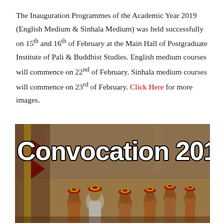The Inauguration Programmes of the Academic Year 2019 (English Medium & Sinhala Medium) was held successfully on 15th and 16th of February at the Main Hall of Postgraduate Institute of Pali & Buddhist Studies. English medium courses will commence on 22nd of February. Sinhala medium courses will commence on 23rd of February. Click Here for more images.
[Figure (photo): A photograph from Convocation 2018 showing a procession of monks and graduates in orange robes and red circular hats, carrying flags, with the large text 'Convocation 2018' overlaid in white with black outline.]